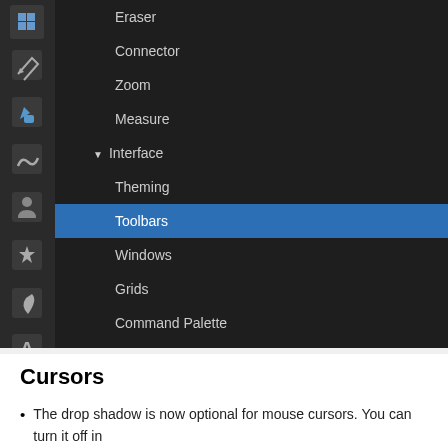[Figure (screenshot): Screenshot of a dark-themed application preferences/navigation panel showing a sidebar menu with items: Eraser, Connector, Zoom, Measure, Interface (expanded with sub-items: Theming, Toolbars (selected/highlighted in blue), Windows, Grids, Command Palette, Keyboard), Behaviour (collapsed), Input/Output (collapsed), System, and partially visible 'Imported Im...' at bottom. Left side shows a vertical toolbar with tool icons.]
Cursors
The drop shadow is now optional for mouse cursors. You can turn it off in Preferences > Interface > Mouse cursors: Show drop shadow (MR #3352).